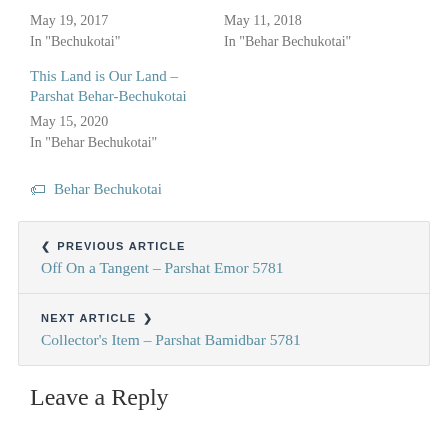May 19, 2017
In "Bechukotai"
May 11, 2018
In "Behar Bechukotai"
This Land is Our Land – Parshat Behar-Bechukotai
May 15, 2020
In "Behar Bechukotai"
Behar Bechukotai
PREVIOUS ARTICLE
Off On a Tangent – Parshat Emor 5781
NEXT ARTICLE
Collector's Item – Parshat Bamidbar 5781
Leave a Reply